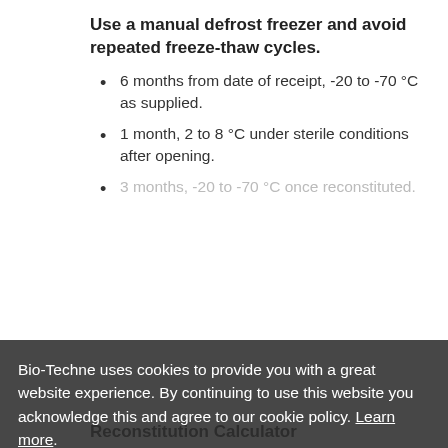Use a manual defrost freezer and avoid repeated freeze-thaw cycles.
6 months from date of receipt, -20 to -70 °C as supplied.
1 month, 2 to 8 °C under sterile conditions after opening.
3 months, -20 to -70 °C once reconstituted.
Bio-Techne uses cookies to provide you with a great website experience. By continuing to use this website you acknowledge this and agree to our cookie policy. Learn more.
Reconstitution Calculator